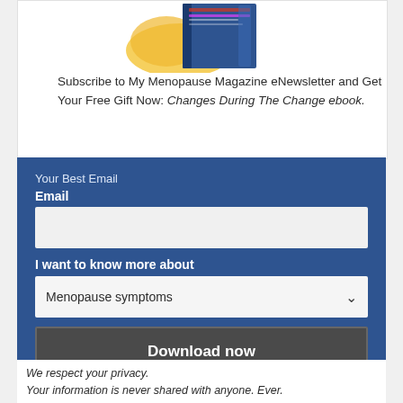[Figure (illustration): Illustration of a book with a yellow/orange circular element, representing the My Menopause Magazine ebook gift]
Subscribe to My Menopause Magazine eNewsletter and Get Your Free Gift Now: Changes During The Change ebook.
Your Best Email
Email
I want to know more about
Menopause symptoms
Download now
We respect your privacy. Your information is never shared with anyone. Ever.